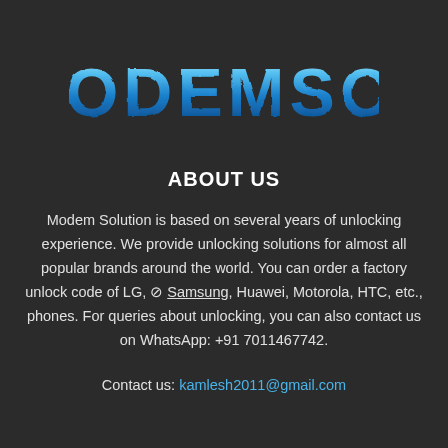[Figure (logo): MODEMSOL logo in blue metallic/grunge style lettering on dark background]
ABOUT US
Modem Solution is based on several years of unlocking experience. We provide unlocking solutions for almost all popular brands around the world. You can order a factory unlock code of LG, ⊘ Samsung, Huawei, Motorola, HTC, etc., phones. For queries about unlocking, you can also contact us on WhatsApp: +91 7011467742.
Contact us: kamlesh2011@gmail.com